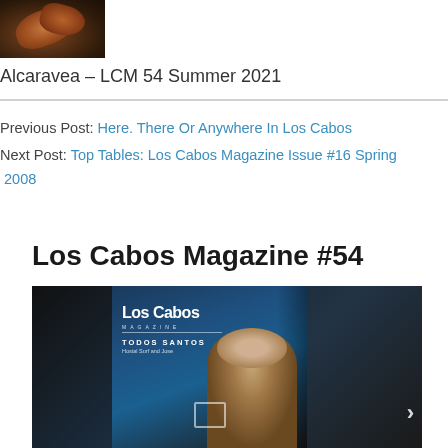[Figure (photo): Close-up photo of cooked octopus or seafood dish]
Alcaravea – LCM 54 Summer 2021
Previous Post: Here. There Or Anywhere In Los Cabos
Next Post: Top Tables: Los Cabos Magazine Issue #16 Spring 2008
Los Cabos Magazine #54
[Figure (photo): Los Cabos Magazine Issue #54 cover featuring a person near the ocean with text 'Los Cabos Magazine', 'TODOS SANTOS', 'Hostal Surf and Jose']